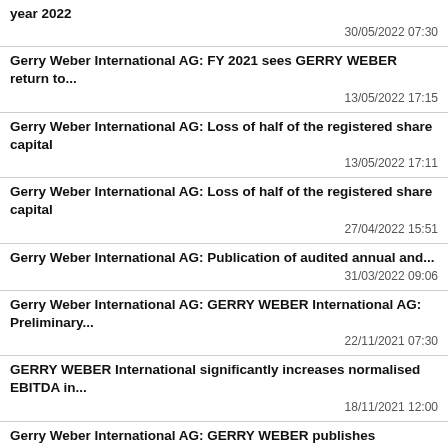year 2022
30/05/2022 07:30
Gerry Weber International AG: FY 2021 sees GERRY WEBER return to...
13/05/2022 17:15
Gerry Weber International AG: Loss of half of the registered share capital
13/05/2022 17:11
Gerry Weber International AG: Loss of half of the registered share capital
27/04/2022 15:51
Gerry Weber International AG: Publication of audited annual and...
31/03/2022 09:06
Gerry Weber International AG: GERRY WEBER International AG: Preliminary...
22/11/2021 07:30
GERRY WEBER International significantly increases normalised EBITDA in...
18/11/2021 12:00
Gerry Weber International AG: GERRY WEBER publishes sustainability agenda
20/08/2021 11:14
Gerry Weber International AG: Annual General Meeting of GERRY WEBER...